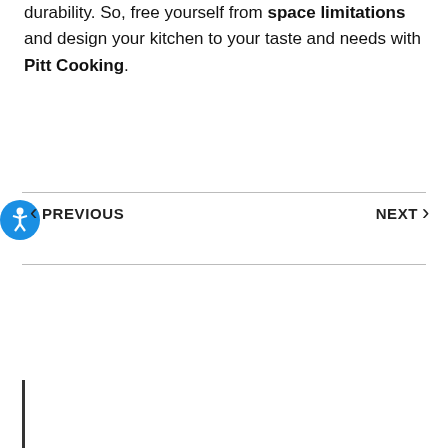durability. So, free yourself from space limitations and design your kitchen to your taste and needs with Pitt Cooking.
< PREVIOUS   NEXT >